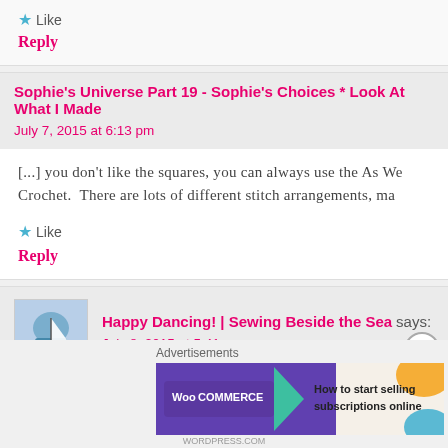★ Like
Reply
Sophie's Universe Part 19 - Sophie's Choices * Look At What I Made
July 7, 2015 at 6:13 pm
[...] you don't like the squares, you can always use the As We Crochet.  There are lots of different stitch arrangements, ma
★ Like
Reply
Happy Dancing! | Sewing Beside the Sea says:
July 8, 2015 at 5:41 pm
Advertisements
[Figure (screenshot): WooCommerce advertisement banner: 'How to start selling subscriptions online']